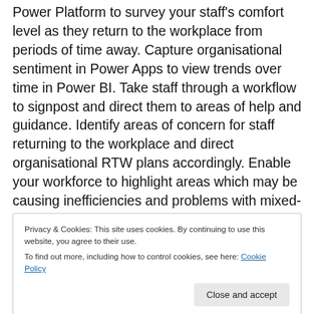Power Platform to survey your staff's comfort level as they return to the workplace from periods of time away. Capture organisational sentiment in Power Apps to view trends over time in Power BI. Take staff through a workflow to signpost and direct them to areas of help and guidance. Identify areas of concern for staff returning to the workplace and direct organisational RTW plans accordingly. Enable your workforce to highlight areas which may be causing inefficiencies and problems with mixed-mode working (teams split between remote & in-office
Privacy & Cookies: This site uses cookies. By continuing to use this website, you agree to their use. To find out more, including how to control cookies, see here: Cookie Policy
on working patterns for contact tracing. If you